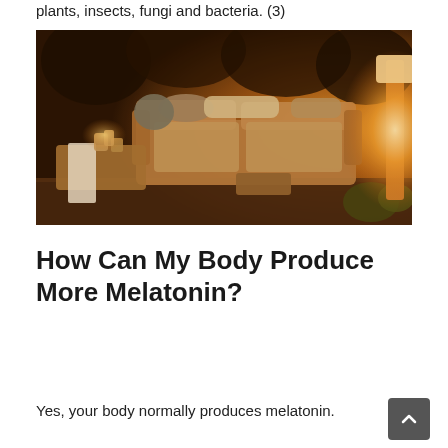plants, insects, fungi and bacteria. (3)
[Figure (photo): Outdoor patio at night with wicker sectional sofa with cushions, a coffee table with candles and a white table runner, surrounded by warm glowing light from a lamp and trees in the background.]
How Can My Body Produce More Melatonin?
Yes, your body normally produces melatonin.